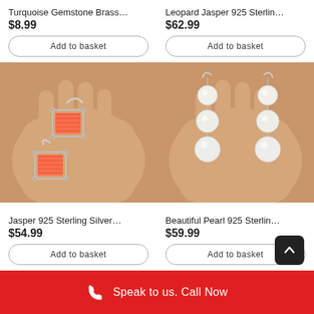Turquoise Gemstone Brass...
$8.99
Add to basket
Leopard Jasper 925 Sterlin...
$62.99
Add to basket
[Figure (photo): Hand holding red/orange striped jasper gemstone silver earrings]
[Figure (photo): Hand holding triple pearl 925 sterling silver drop earrings]
Jasper 925 Sterling Silver...
$54.99
Add to basket
Beautiful Pearl 925 Sterlin...
$59.99
Add to basket
Speak to us. Call Now